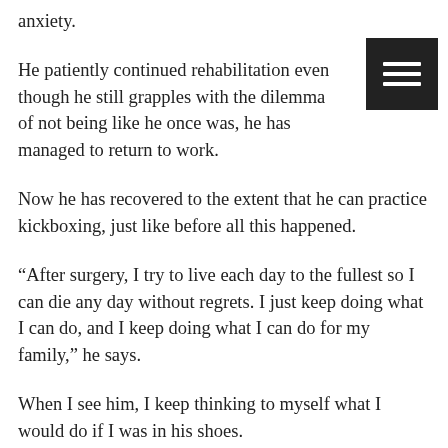anxiety.
[Figure (other): Hamburger menu button (three horizontal white lines on black square background)]
He patiently continued rehabilitation even though he still grapples with the dilemma of not being like he once was, he has managed to return to work.
Now he has recovered to the extent that he can practice kickboxing, just like before all this happened.
“After surgery, I try to live each day to the fullest so I can die any day without regrets. I just keep doing what I can do, and I keep doing what I can do for my family,” he says.
When I see him, I keep thinking to myself what I would do if I was in his shoes.